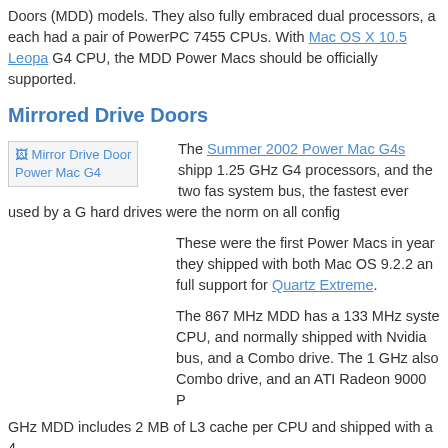Doors (MDD) models. They also fully embraced dual processors, a each had a pair of PowerPC 7455 CPUs. With Mac OS X 10.5 Leopa G4 CPU, the MDD Power Macs should be officially supported.
Mirrored Drive Doors
[Figure (photo): Mirror Drive Door Power Mac G4 image placeholder]
The Summer 2002 Power Mac G4s shipp 1.25 GHz G4 processors, and the two fas system bus, the fastest ever used by a G hard drives were the norm on all config
These were the first Power Macs in year they shipped with both Mac OS 9.2.2 an full support for Quartz Extreme.
The 867 MHz MDD has a 133 MHz syste CPU, and normally shipped with Nvidia bus, and a Combo drive. The 1 GHz also Combo drive, and an ATI Radeon 9000 P GHz MDD includes 2 MB of L3 cache per CPU and shipped with a 4
FireWire 800